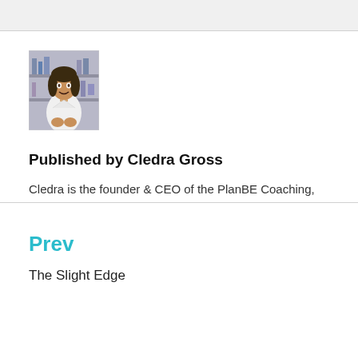[Figure (photo): Portrait photo of Cledra Gross, a woman in a white top, with shelves in the background.]
Published by Cledra Gross
Cledra is the founder & CEO of the PlanBE Coaching, LLC. She helps women rewrite their story with their bodies, their emotions, and ultimately their lives. View all posts by Cledra Gross
Prev
The Slight Edge